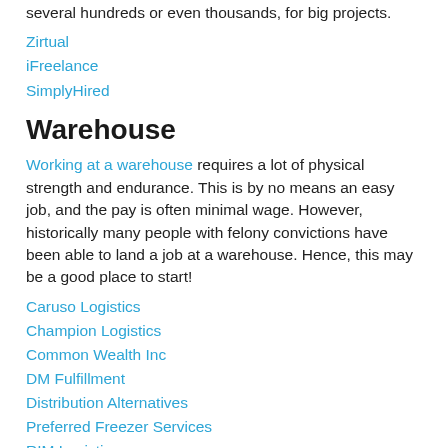several hundreds or even thousands, for big projects.
Zirtual
iFreelance
SimplyHired
Warehouse
Working at a warehouse requires a lot of physical strength and endurance. This is by no means an easy job, and the pay is often minimal wage. However, historically many people with felony convictions have been able to land a job at a warehouse. Hence, this may be a good place to start!
Caruso Logistics
Champion Logistics
Common Wealth Inc
DM Fulfillment
Distribution Alternatives
Preferred Freezer Services
RIM Logistics
Reliable Transportation Solutions